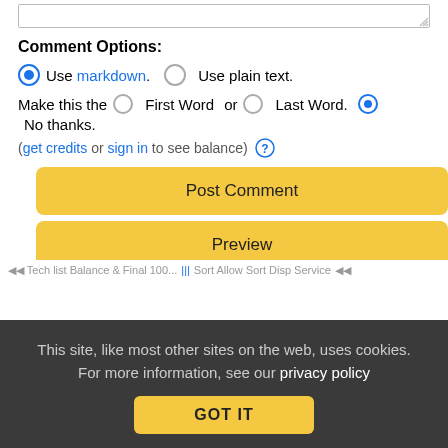Comment Options:
Use markdown. Use plain text.
Make this the First Word or Last Word. No thanks.
(get credits or sign in to see balance) ?
Post Comment
Preview
This site, like most other sites on the web, uses cookies. For more information, see our privacy policy
GOT IT